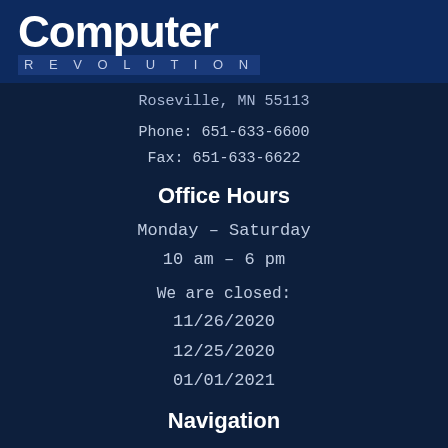[Figure (logo): Computer Revolution logo with bold 'Computer' text and 'REVOLUTION' in spaced letters on dark blue background]
Roseville, MN 55113
Phone: 651-633-6600
Fax: 651-633-6622
Office Hours
Monday – Saturday
10 am – 6 pm
We are closed:
11/26/2020
12/25/2020
01/01/2021
Navigation